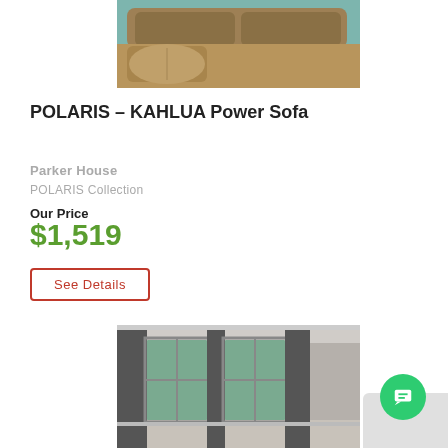[Figure (photo): Top portion of a brown/tan leather power sofa on a teal rug, product photo]
POLARIS – KAHLUA Power Sofa
Parker House
POLARIS Collection
Our Price
$1,519
See Details
[Figure (photo): Room interior with gray walls, curtains and windows showing outdoor greenery]